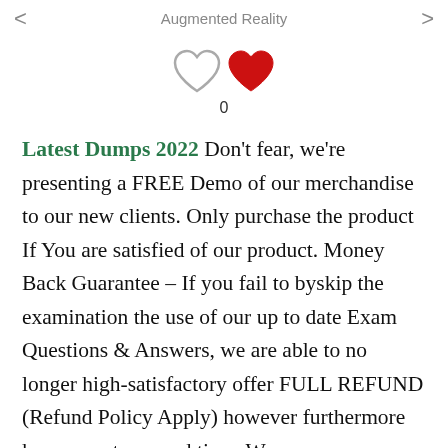Augmented Reality
[Figure (illustration): Two heart icons side by side — one outline heart (unfilled) and one solid red heart — with a count of 0 below them]
Latest Dumps 2022 Don't fear, we're presenting a FREE Demo of our merchandise to our new clients. Only purchase the product If You are satisfied of our product. Money Back Guarantee – If you fail to byskip the examination the use of our up to date Exam Questions & Answers, we are able to no longer high-satisfactory offer FULL REFUND (Refund Policy Apply) however furthermore keep your treasured time. We may